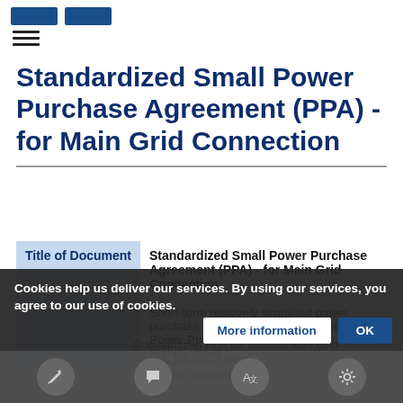[blue buttons] [hamburger menu]
Standardized Small Power Purchase Agreement (PPA) - for Main Grid Connection
| Title of Document | Standardized Small Power Purchase Agreement (PPA) - for Main Grid Connection |
| --- | --- |
|  | Short-form relatively simplified power purchase agreements developed for Small Power Producers in Tanzania - Standardized PPA for Isolated Mini Grid ... Standardized T... and Detailed |
Cookies help us deliver our services. By using our services, you agree to our use of cookies.
[More information] [OK] [toolbar icons]